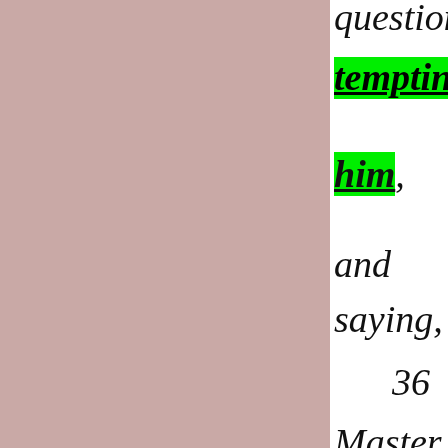question, tempting him, and saying, 36 Master, which is the great command